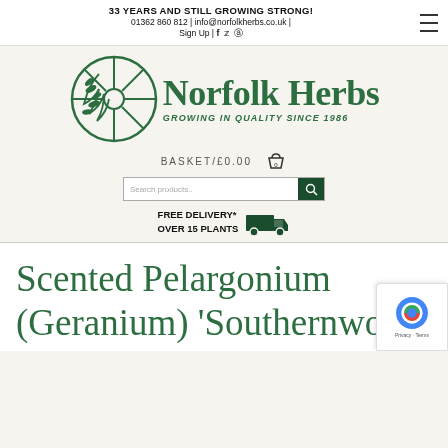33 YEARS AND STILL GROWING STRONG! | 01362 860 812 | info@norfolkherbs.co.uk | Sign Up | Facebook | Twitter | Instagram
[Figure (logo): Norfolk Herbs logo — circular wheel icon with herb sprig, text 'Norfolk Herbs' and tagline 'GROWING IN QUALITY SINCE 1986']
BASKET/£0.00
Search products..
FREE DELIVERY* OVER 15 PLANTS
Scented Pelargonium (Geranium) 'Southernwo...